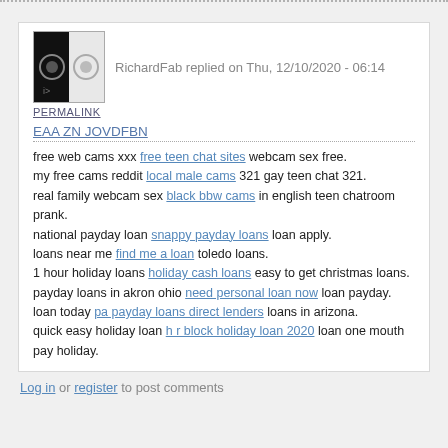[Figure (photo): User avatar image, black and white split, two circular user icons]
RichardFab replied on Thu, 12/10/2020 - 06:14
PERMALINK
EAA ZN JOVDFBN
free web cams xxx free teen chat sites webcam sex free.
my free cams reddit local male cams 321 gay teen chat 321.
real family webcam sex black bbw cams in english teen chatroom prank.
national payday loan snappy payday loans loan apply.
loans near me find me a loan toledo loans.
1 hour holiday loans holiday cash loans easy to get christmas loans.
payday loans in akron ohio need personal loan now loan payday.
loan today pa payday loans direct lenders loans in arizona.
quick easy holiday loan h r block holiday loan 2020 loan one mouth pay holiday.
Log in or register to post comments